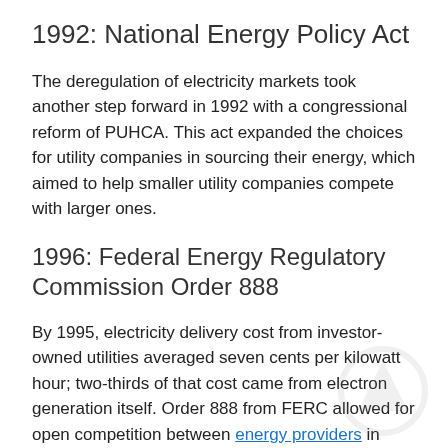1992: National Energy Policy Act
The deregulation of electricity markets took another step forward in 1992 with a congressional reform of PUHCA. This act expanded the choices for utility companies in sourcing their energy, which aimed to help smaller utility companies compete with larger ones.
1996: Federal Energy Regulatory Commission Order 888
By 1995, electricity delivery cost from investor-owned utilities averaged seven cents per kilowatt hour; two-thirds of that cost came from electron generation itself. Order 888 from FERC allowed for open competition between energy providers in hopes to drive down energy costs, though jurisdiction still ultimately fell to individual state regulations.